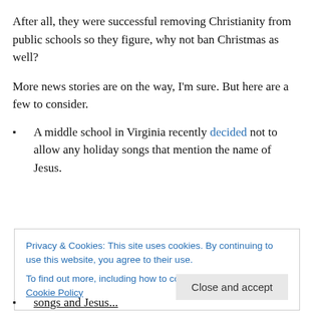After all, they were successful removing Christianity from public schools so they figure, why not ban Christmas as well?
More news stories are on the way, I'm sure. But here are a few to consider.
A middle school in Virginia recently decided not to allow any holiday songs that mention the name of Jesus.
Privacy & Cookies: This site uses cookies. By continuing to use this website, you agree to their use.
To find out more, including how to control cookies, see here: Cookie Policy
songs and Jesus...